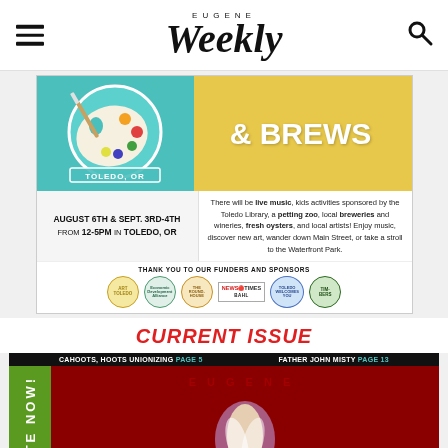Eugene Weekly - navigation header with menu and search icons
[Figure (illustration): Advertisement for Art & Brews event in Toledo, OR on August 6th & Sept. 3rd-4th from 12-5PM. Features a paint palette illustration on teal background, text about live music, kids activities, petting zoo, breweries and wineries, fresh oysters, and local artists. Includes sponsor logos: Art Toledo, Economic Development Alliance, The Roundhouse Foundation, News Times, BAM! General Artist, Toledo Welcomes You, Timbers.]
CURRENT ISSUE
[Figure (photo): Eugene Weekly magazine cover with dark red background. Green vertical banner on left reads 'VOTE NOW!'. Top black bar reads 'CAHOOTS, HOOTS UNIONIZING PAGE 5   FATHER JOHN MISTY PAGE 13'. Large 'EUGENE WEEKLY' masthead text visible in red. Abstract colorful art visible in center.]